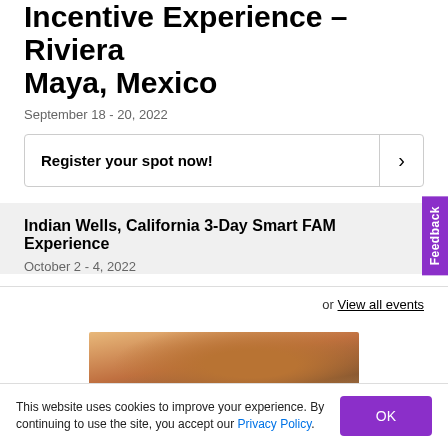Incentive Experience – Riviera Maya, Mexico
September 18 - 20, 2022
Register your spot now!
Indian Wells, California 3-Day Smart FAM Experience
October 2 - 4, 2022
or View all events
[Figure (photo): Hotel or resort building photo with warm sunset colors]
This website uses cookies to improve your experience. By continuing to use the site, you accept our Privacy Policy.